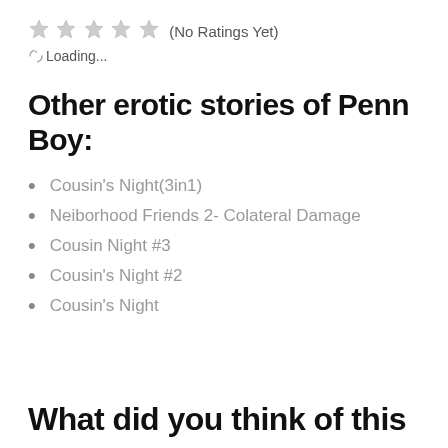☆☆☆☆☆ (No Ratings Yet)
⟳Loading...
Other erotic stories of Penn Boy:
Cousin's Night(3in1)
Neiborhood Friends 2- Colateral Damage
Cousin Night #3
Cousin's Night #2
Cousin's Night
What did you think of this